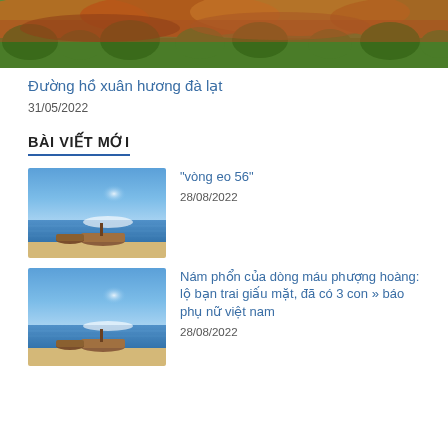[Figure (photo): Landscape photo showing rolling hills with green trees and reddish-orange scrubland/heather]
Đường hồ xuân hương đà lạt
31/05/2022
BÀI VIẾT MỚI
[Figure (photo): Beach scene with blue sky, calm water, sun glare on water, and two small boats on sandy shore]
“vòng eo 56”
28/08/2022
[Figure (photo): Beach scene with blue sky, calm water, sun glare on water, and two small boats on sandy shore]
Nám phổn của dòng máu phượng hoàng: lộ bạn trai giấu mặt, đã có 3 con » báo phụ nữ việt nam
28/08/2022